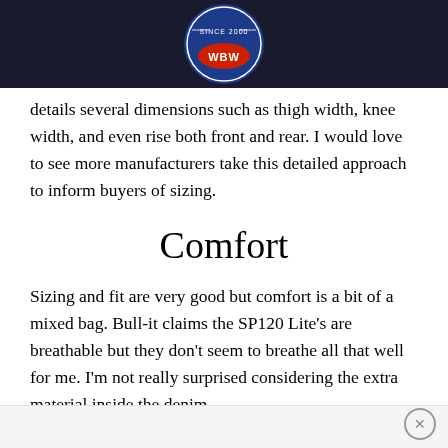[Figure (logo): WBW circular logo with red and blue colors, 'SINCE 2000' text and 'WBW' text on dark navy background header bar]
details several dimensions such as thigh width, knee width, and even rise both front and rear. I would love to see more manufacturers take this detailed approach to inform buyers of sizing.
Comfort
Sizing and fit are very good but comfort is a bit of a mixed bag. Bull-it claims the SP120 Lite's are breathable but they don't seem to breathe all that well for me. I'm not really surprised considering the extra material inside the denim.